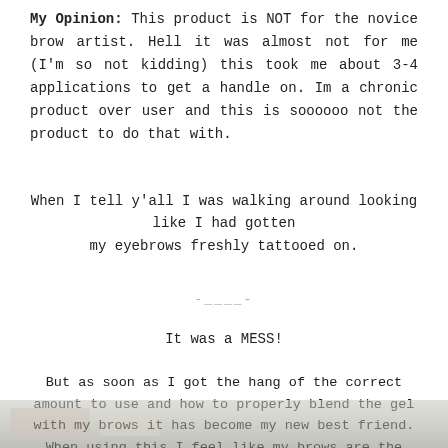My Opinion: This product is NOT for the novice brow artist. Hell it was almost not for me (I'm so not kidding) this took me about 3-4 applications to get a handle on. Im a chronic product over user and this is soooooo not the product to do that with.
When I tell y'all I was walking around looking like I had gotten my eyebrows freshly tattooed on.
-____-
It was a MESS!
But as soon as I got the hang of the correct amount to use and how to properly blend the gel with my brows it has become my new best friend. When using this I feel like my brows are the most precise they have ever been. Its a god sent.
[Figure (photo): Partial photo visible at the bottom of the page]